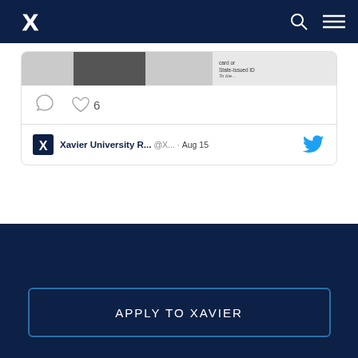Xavier University navigation bar with logo, search, and menu icons
[Figure (screenshot): Partial tweet card with an image strip showing a photo and text referencing 'card or State-issued ID']
♡ 6
Xavier University R... @X... · Aug 15
APPLY TO XAVIER